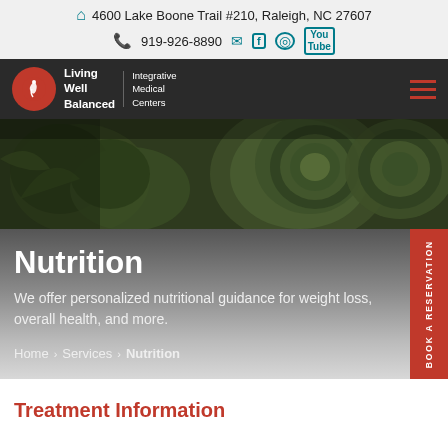4600 Lake Boone Trail #210, Raleigh, NC 27607  |  919-926-8890
[Figure (logo): Living Well Balanced Integrative Medical Centers logo with red circle and white figure icon]
[Figure (photo): Dark overhead photo of artichokes and green vegetables]
Nutrition
We offer personalized nutritional guidance for weight loss, overall health, and more.
Home > Services > Nutrition
Treatment Information